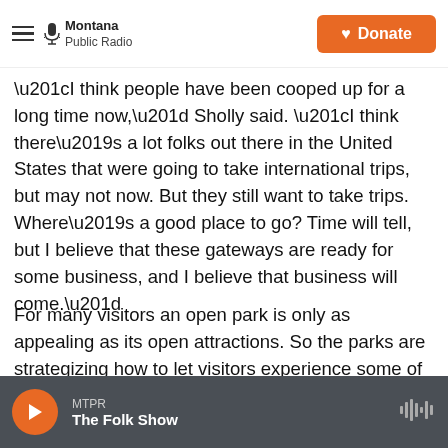Montana Public Radio | Donate
“I think people have been cooped up for a long time now,” Sholly said. “I think there’s a lot folks out there in the United States that were going to take international trips, but may not now. But they still want to take trips. Where’s a good place to go? Time will tell, but I believe that these gateways are ready for some business, and I believe that business will come.”
For many visitors an open park is only as appealing as its open attractions. So the parks are strategizing how to let visitors experience some of their most popular destinations first, with a priority
MTPR | The Folk Show